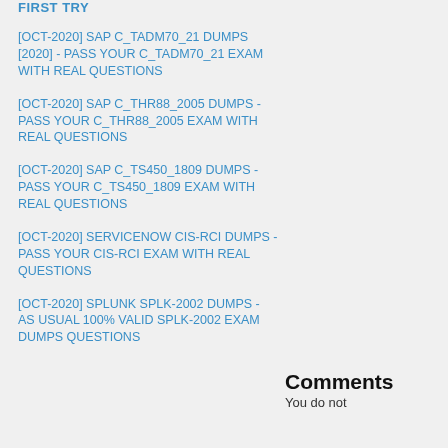FIRST TRY
[OCT-2020] SAP C_TADM70_21 DUMPS [2020] - PASS YOUR C_TADM70_21 EXAM WITH REAL QUESTIONS
[OCT-2020] SAP C_THR88_2005 DUMPS - PASS YOUR C_THR88_2005 EXAM WITH REAL QUESTIONS
[OCT-2020] SAP C_TS450_1809 DUMPS - PASS YOUR C_TS450_1809 EXAM WITH REAL QUESTIONS
[OCT-2020] SERVICENOW CIS-RCI DUMPS - PASS YOUR CIS-RCI EXAM WITH REAL QUESTIONS
[OCT-2020] SPLUNK SPLK-2002 DUMPS - AS USUAL 100% VALID SPLK-2002 EXAM DUMPS QUESTIONS
Comments
You do not